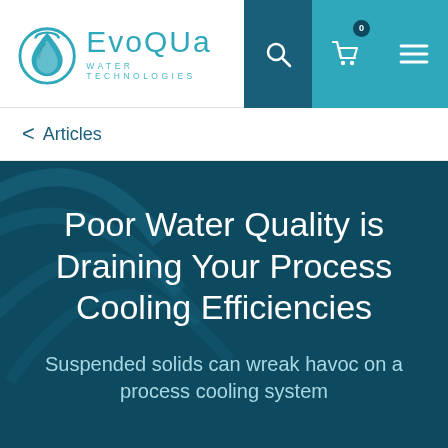[Figure (logo): Evoqua Water Technologies logo with teal water drop icon]
Articles
Poor Water Quality is Draining Your Process Cooling Efficiencies
Suspended solids can wreak havoc on a process cooling system